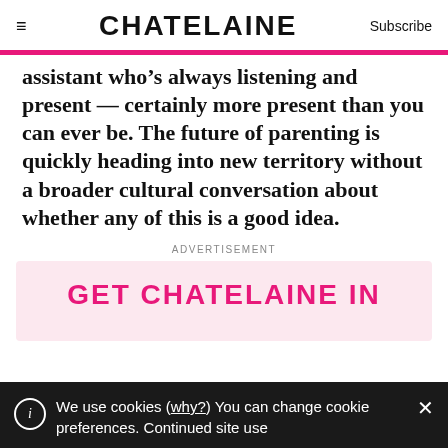CHATELAINE | Subscribe
assistant who’s always listening and present — certainly more present than you can ever be. The future of parenting is quickly heading into new territory without a broader cultural conversation about whether any of this is a good idea.
ADVERTISEMENT
[Figure (other): Pink advertisement box with text GET CHATELAINE IN]
We use cookies (why?) You can change cookie preferences. Continued site use